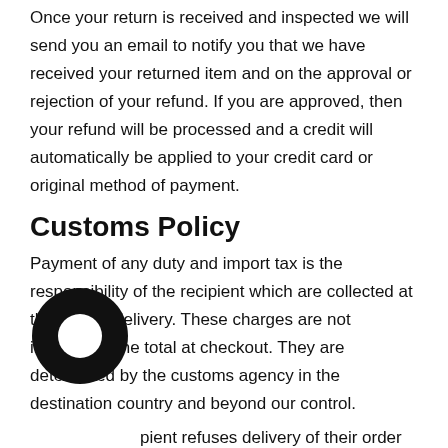Once your return is received and inspected we will send you an email to notify you that we have received your returned item and on the approval or rejection of your refund. If you are approved, then your refund will be processed and a credit will automatically be applied to your credit card or original method of payment.
Customs Policy
Payment of any duty and import tax is the responsibility of the recipient which are collected at the time of delivery. These charges are not included in the total at checkout. They are determined by the customs agency in the destination country and beyond our control.
If a recipient refuses delivery of their order due to a customs charge your package will be considered
[Figure (logo): Black circular logo icon overlaid on the bottom-left of the text]